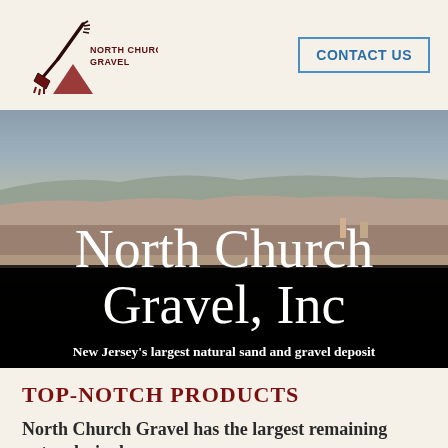North Church Gravel | CONTACT US
[Figure (photo): Aerial or ground-level photo of a gravel pit quarry with gray-blue sky and sandy/rocky terrain. North Church Gravel, Inc hero banner image.]
North Church Gravel, Inc
New Jersey's largest natural sand and gravel deposit
TOP-NOTCH PRODUCTS
North Church Gravel has the largest remaining natural, single